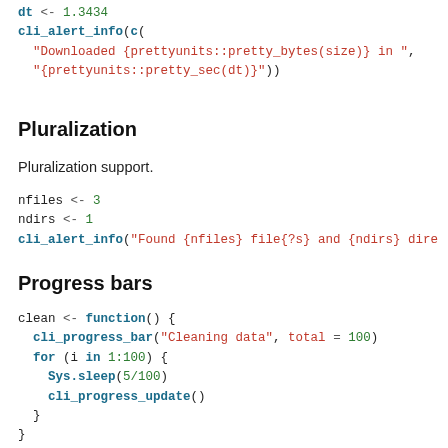dt <- 1.3434
cli_alert_info(c(
  "Downloaded {prettyunits::pretty_bytes(size)} in ",
  "{prettyunits::pretty_sec(dt)}"))
Pluralization
Pluralization support.
nfiles <- 3
ndirs <- 1
cli_alert_info("Found {nfiles} file{?s} and {ndirs} dire
Progress bars
clean <- function() {
  cli_progress_bar("Cleaning data", total = 100)
  for (i in 1:100) {
    Sys.sleep(5/100)
    cli_progress_update()
  }
}
clean()